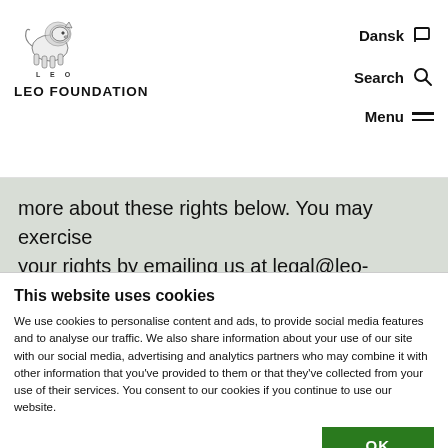[Figure (logo): LEO Foundation lion logo with 'L E O' text beneath and 'LEO FOUNDATION' wordmark]
Dansk  Search  Menu
more about these rights below. You may exercise your rights by emailing us at legal@leo-
This website uses cookies
We use cookies to personalise content and ads, to provide social media features and to analyse our traffic. We also share information about your use of our site with our social media, advertising and analytics partners who may combine it with other information that you've provided to them or that they've collected from your use of their services. You consent to our cookies if you continue to use our website.
OK
Necessary  Preferences  Statistics  Marketing  Show details